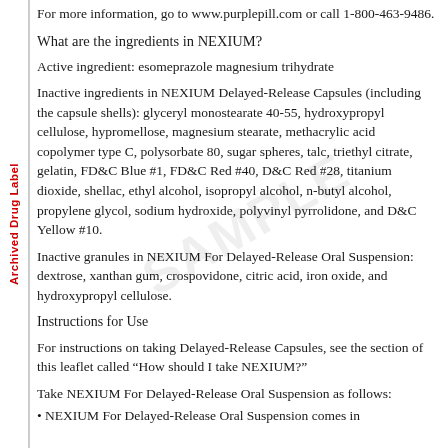For more information, go to www.purplepill.com or call 1-800-463-9486.
What are the ingredients in NEXIUM?
Active ingredient: esomeprazole magnesium trihydrate
Inactive ingredients in NEXIUM Delayed-Release Capsules (including the capsule shells): glyceryl monostearate 40-55, hydroxypropyl cellulose, hypromellose, magnesium stearate, methacrylic acid copolymer type C, polysorbate 80, sugar spheres, talc, triethyl citrate, gelatin, FD&C Blue #1, FD&C Red #40, D&C Red #28, titanium dioxide, shellac, ethyl alcohol, isopropyl alcohol, n-butyl alcohol, propylene glycol, sodium hydroxide, polyvinyl pyrrolidone, and D&C Yellow #10.
Inactive granules in NEXIUM For Delayed-Release Oral Suspension: dextrose, xanthan gum, crospovidone, citric acid, iron oxide, and hydroxypropyl cellulose.
Instructions for Use
For instructions on taking Delayed-Release Capsules, see the section of this leaflet called “How should I take NEXIUM?”
Take NEXIUM For Delayed-Release Oral Suspension as follows:
• NEXIUM For Delayed-Release Oral Suspension comes in